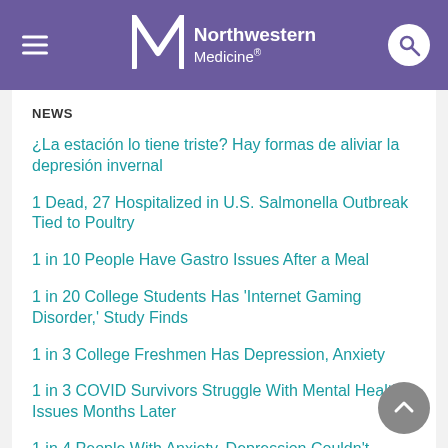Northwestern Medicine
NEWS
¿La estación lo tiene triste? Hay formas de aliviar la depresión invernal
1 Dead, 27 Hospitalized in U.S. Salmonella Outbreak Tied to Poultry
1 in 10 People Have Gastro Issues After a Meal
1 in 20 College Students Has 'Internet Gaming Disorder,' Study Finds
1 in 3 College Freshmen Has Depression, Anxiety
1 in 3 COVID Survivors Struggle With Mental Health Issues Months Later
1 in 4 People With Anxiety, Depression Couldn't